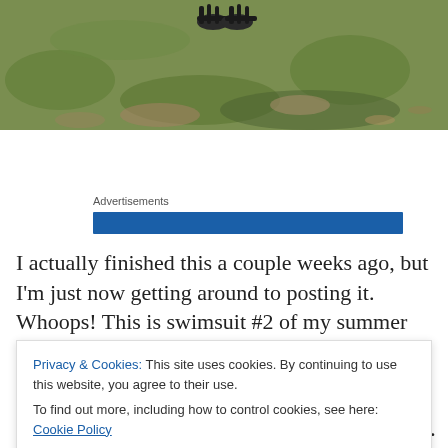[Figure (photo): Partial view of a person's feet wearing black strappy sandals, standing on grass with dirt patches. Only the feet and lower legs are visible at the top of the image.]
Advertisements
[Figure (other): Blue horizontal advertisement bar]
I actually finished this a couple weeks ago, but I'm just now getting around to posting it. Whoops! This is swimsuit #2 of my summer swim gear (if you missed #1, you can
Privacy & Cookies: This site uses cookies. By continuing to use this website, you agree to their use.
To find out more, including how to control cookies, see here: Cookie Policy
Close and accept
REALLY fun to make! Can't stop, won't stop.